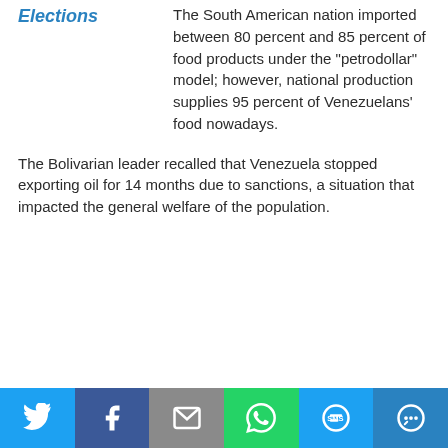Elections
The South American nation imported between 80 percent and 85 percent of food products under the "petrodollar" model; however, national production supplies 95 percent of Venezuelans' food nowadays.
The Bolivarian leader recalled that Venezuela stopped exporting oil for 14 months due to sanctions, a situation that impacted the general welfare of the population.
Social share bar: Twitter, Facebook, Email, WhatsApp, SMS, More